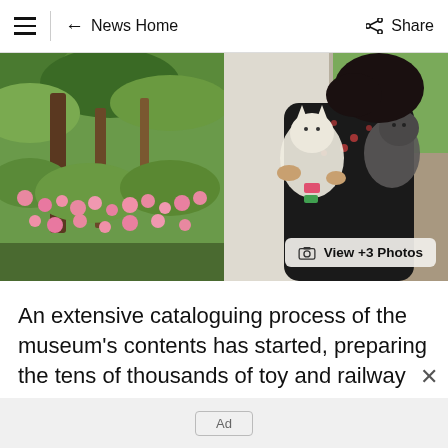≡  ← News Home   Share
[Figure (photo): Split photo: left side shows a garden with trees and pink flowers/camellias; right side shows a person in a floral dark jacket holding a white cat and a grey cat outdoors.]
An extensive cataloguing process of the museum's contents has started, preparing the tens of thousands of toy and railway collectibles for auction later this year
Ad